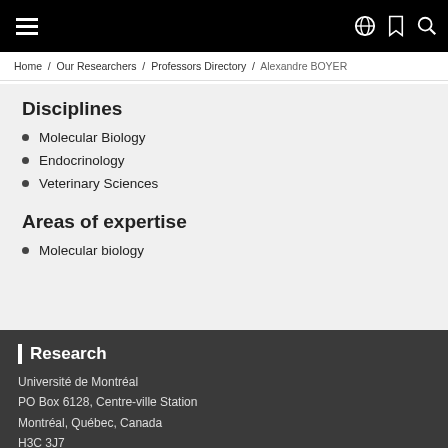Home / Our Researchers / Professors Directory / Alexandre BOYER
Disciplines
Molecular Biology
Endocrinology
Veterinary Sciences
Areas of expertise
Molecular biology
Research
Université de Montréal
PO Box 6128, Centre-ville Station
Montréal, Québec, Canada
H3C 3J7